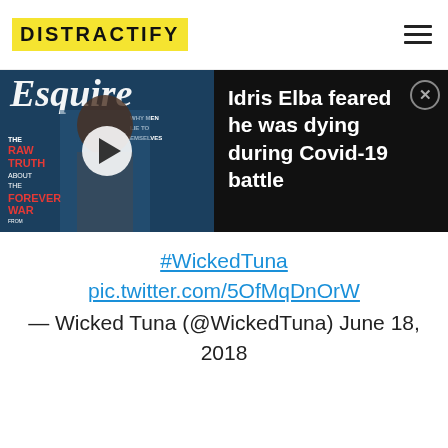DISTRACTIFY
[Figure (screenshot): Video player overlay showing Esquire magazine cover with Idris Elba, with play button. Video title panel reads: Idris Elba feared he was dying during Covid-19 battle]
#WickedTuna pic.twitter.com/5OfMqDnOrW
— Wicked Tuna (@WickedTuna) June 18, 2018